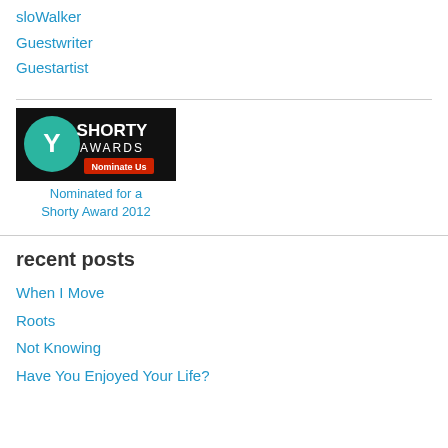sloWalker
Guestwriter
Guestartist
[Figure (logo): Shorty Awards Nominate Us badge with teal Y logo on black background]
Nominated for a Shorty Award 2012
recent posts
When I Move
Roots
Not Knowing
Have You Enjoyed Your Life?